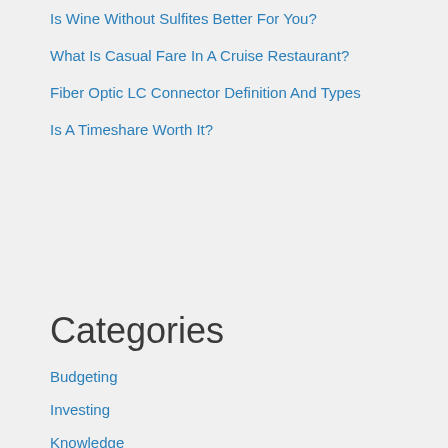Is Wine Without Sulfites Better For You?
What Is Casual Fare In A Cruise Restaurant?
Fiber Optic LC Connector Definition And Types
Is A Timeshare Worth It?
Categories
Budgeting
Investing
Knowledge
News